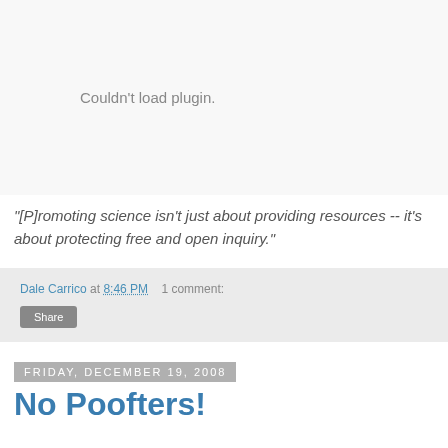[Figure (other): Plugin placeholder area showing 'Couldn't load plugin.' message in gray text]
"[P]romoting science isn't just about providing resources -- it's about protecting free and open inquiry."
Dale Carrico at 8:46 PM   1 comment:
Share
Friday, December 19, 2008
No Poofters!